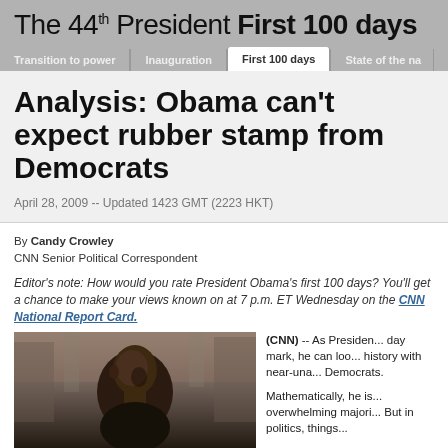The 44th President First 100 days
Analysis: Obama can't expect rubber stamp from Democrats
April 28, 2009 -- Updated 1423 GMT (2223 HKT)
By Candy Crowley
CNN Senior Political Correspondent
Editor's note: How would you rate President Obama's first 100 days? You'll get a chance to make your views known on at 7 p.m. ET Wednesday on the CNN National Report Card.
[Figure (photo): Photo of President Obama in a dark jacket, looking to his left, against a blurred background.]
(CNN) -- As President Obama approaches his 100-day mark, he can look back on a remarkable piece of history with near-unanimous support from congressional Democrats.

Mathematically, he is governing with an overwhelming majority of members in both chambers. But in politics, things...